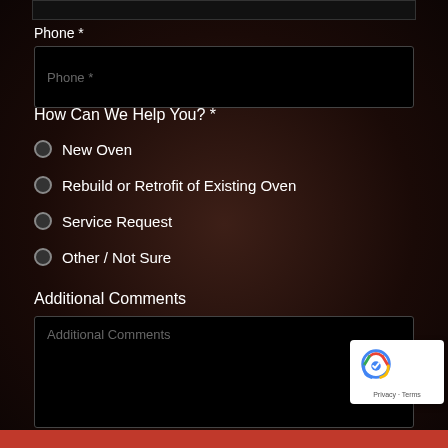Phone *
Phone *
How Can We Help You? *
New Oven
Rebuild or Retrofit of Existing Oven
Service Request
Other / Not Sure
Additional Comments
Additional Comments